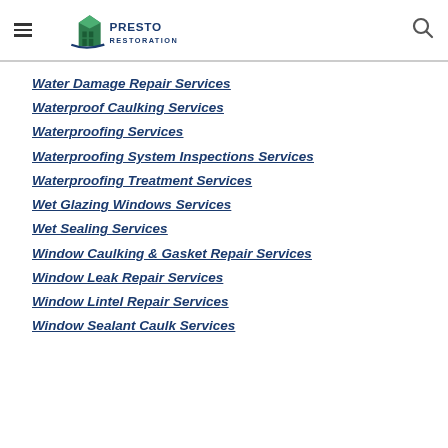Presto Restoration
Water Damage Repair Services
Waterproof Caulking Services
Waterproofing Services
Waterproofing System Inspections Services
Waterproofing Treatment Services
Wet Glazing Windows Services
Wet Sealing Services
Window Caulking & Gasket Repair Services
Window Leak Repair Services
Window Lintel Repair Services
Window Sealant Caulk Services